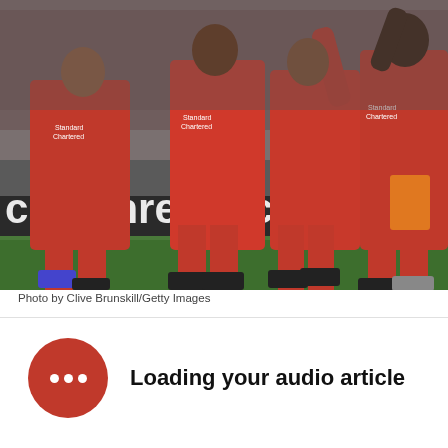[Figure (photo): Liverpool FC players in red jerseys celebrating on the pitch, with crowd in the background. Players wearing Standard Chartered sponsored kits. Advertising hoarding visible at bottom reading 'clchanreled.com'.]
Photo by Clive Brunskill/Getty Images
Loading your audio article